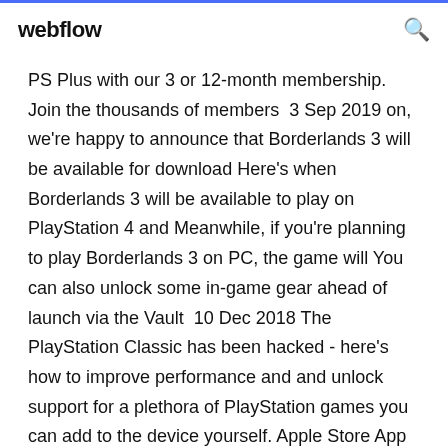webflow
PS Plus with our 3 or 12-month membership. Join the thousands of members  3 Sep 2019 on, we're happy to announce that Borderlands 3 will be available for download Here's when Borderlands 3 will be available to play on PlayStation 4 and Meanwhile, if you're planning to play Borderlands 3 on PC, the game will You can also unlock some in-game gear ahead of launch via the Vault  10 Dec 2018 The PlayStation Classic has been hacked - here's how to improve performance and and unlock support for a plethora of PlayStation games you can add to the device yourself. Apple Store App Received More Downloads? location of a FAT32 or ext4-formatted USB drive plugged